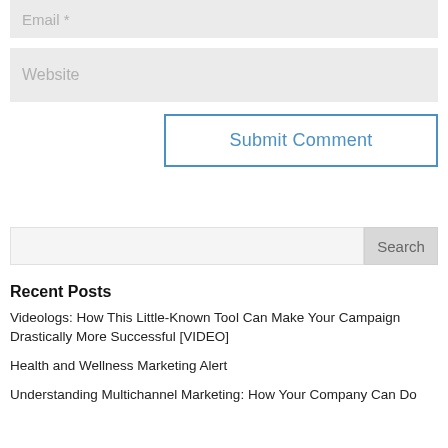Email *
Website
Submit Comment
Search
Recent Posts
Videologs: How This Little-Known Tool Can Make Your Campaign Drastically More Successful [VIDEO]
Health and Wellness Marketing Alert
Understanding Multichannel Marketing: How Your Company Can Do